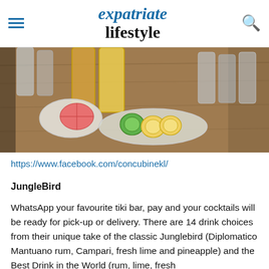expatriate lifestyle
[Figure (photo): Vacuum-sealed bags of garnishes and citrus slices on a wooden surface alongside bottles of juice and whisky glasses]
https://www.facebook.com/concubinekl/
JungleBird
WhatsApp your favourite tiki bar, pay and your cocktails will be ready for pick-up or delivery. There are 14 drink choices from their unique take of the classic Junglebird (Diplomatico Mantuano rum, Campari, fresh lime and pineapple) and the Best Drink in the World (rum, lime, fresh